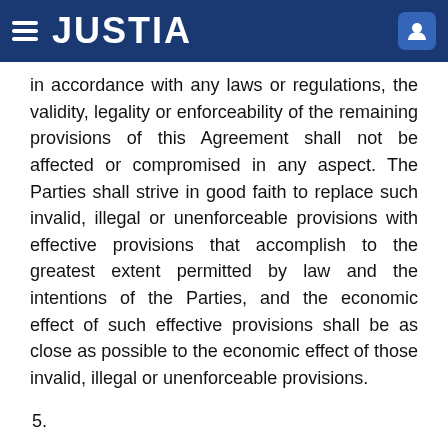JUSTIA
in accordance with any laws or regulations, the validity, legality or enforceability of the remaining provisions of this Agreement shall not be affected or compromised in any aspect. The Parties shall strive in good faith to replace such invalid, illegal or unenforceable provisions with effective provisions that accomplish to the greatest extent permitted by law and the intentions of the Parties, and the economic effect of such effective provisions shall be as close as possible to the economic effect of those invalid, illegal or unenforceable provisions.
5. [redacted text]